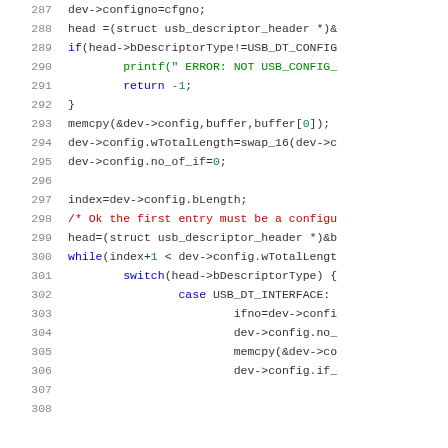[Figure (screenshot): Source code listing in C, lines 287-307, showing USB descriptor parsing logic with syntax highlighting. Line numbers in gray on left, keywords in blue, comments in red, numeric literals in green.]